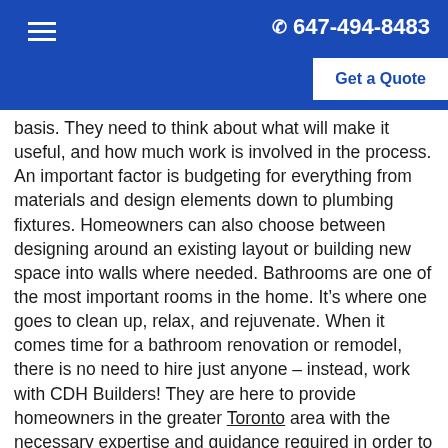647-494-8483 | Get a Quote
basis. They need to think about what will make it useful, and how much work is involved in the process. An important factor is budgeting for everything from materials and design elements down to plumbing fixtures. Homeowners can also choose between designing around an existing layout or building new space into walls where needed. Bathrooms are one of the most important rooms in the home. It’s where one goes to clean up, relax, and rejuvenate. When it comes time for a bathroom renovation or remodel, there is no need to hire just anyone – instead, work with CDH Builders! They are here to provide homeowners in the greater Toronto area with the necessary expertise and guidance required in order to make your bathroom renovation dreams come true. From start to finish, they will work closely with you on everything related to design